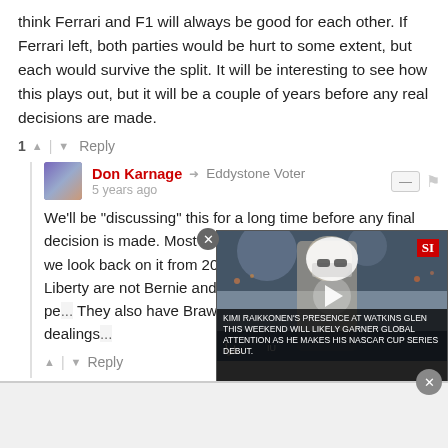think Ferrari and F1 will always be good for each other. If Ferrari left, both parties would be hurt to some extent, but each would survive the split. It will be interesting to see how this plays out, but it will be a couple of years before any real decisions are made.
1 | Reply
Don Karnage → Eddystone Voter
5 years ago
We'll be "discussing" this for a long time before any final decision is made. Most of it will be rather pointless when we look back on it from 2021. I still think these guys at at Liberty are not Bernie and h... cave (after making some pe... They also have Brawn on bo... guide them in their dealings...
| Reply
[Figure (screenshot): Video thumbnail overlay with SI badge and play button showing a racing driver at a NASCAR event, with caption about Kimi Raikkonen's presence at Watkins Glen this weekend]
KIMI RAIKKONEN'S PRESENCE AT WATKINS GLEN THIS WEEKEND WILL LIKELY GARNER GLOBAL ATTENTION AS HE MAKES HIS NASCAR CUP SERIES DEBUT.